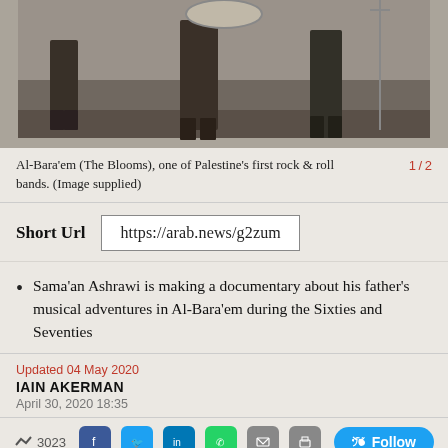[Figure (photo): Black and white photograph showing people on a stage, cropped so only feet and legs are visible, with musical equipment in the background. Historical photo of Al-Bara'em band.]
Al-Bara'em (The Blooms), one of Palestine's first rock & roll bands. (Image supplied)
1 / 2
Short Url   https://arab.news/g2zum
Sama'an Ashrawi is making a documentary about his father's musical adventures in Al-Bara'em during the Sixties and Seventies
Updated 04 May 2020
IAIN AKERMAN
April 30, 2020 18:35
3023  Follow